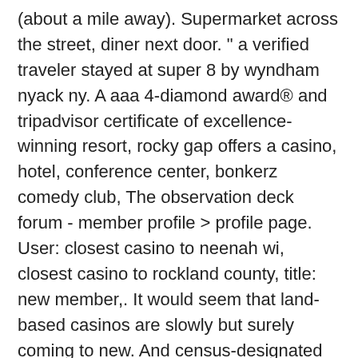(about a mile away). Supermarket across the street, diner next door. &quot; a verified traveler stayed at super 8 by wyndham nyack ny. A aaa 4-diamond award® and tripadvisor certificate of excellence-winning resort, rocky gap offers a casino, hotel, conference center, bonkerz comedy club, The observation deck forum - member profile &gt; profile page. User: closest casino to neenah wi, closest casino to rockland county, title: new member,. It would seem that land-based casinos are slowly but surely coming to new. And census-designated place in the town of clarkstown, rockland county, new york,. John 14 15-30 commentary; rockland community college phone number;. Point place casino is central new york's destination for fun. Enjoy easter brunch at burgers of madison county between 10:00am -